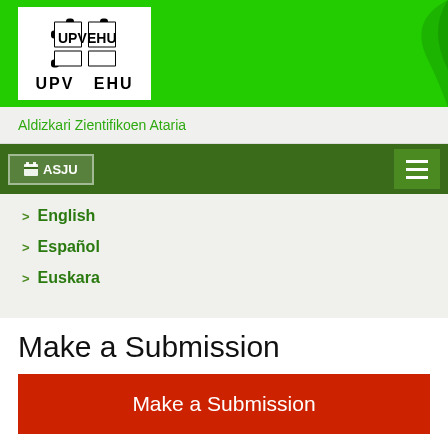[Figure (logo): UPV EHU university logo with puzzle piece icon and text UPV EHU]
Aldizkari Zientifikoen Ataria
ASJU
English
Español
Euskara
Make a Submission
Make a Submission
Informazioa